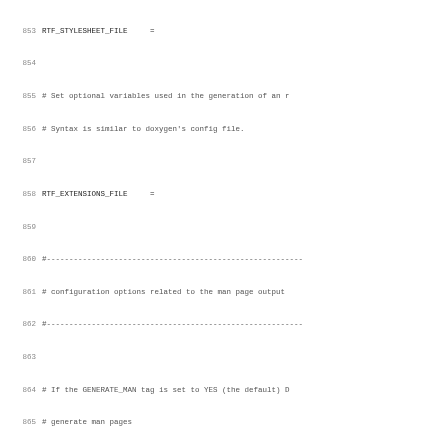853 RTF_STYLESHEET_FILE     =
854
855 # Set optional variables used in the generation of an r
856 # Syntax is similar to doxygen's config file.
857
858 RTF_EXTENSIONS_FILE     =
859
860 #---------------------------------------------------------
861 # configuration options related to the man page output
862 #---------------------------------------------------------
863
864 # If the GENERATE_MAN tag is set to YES (the default) D
865 # generate man pages
866
867 GENERATE_MAN              = NO
868
869 # The MAN_OUTPUT tag is used to specify where the man p
870 # If a relative path is entered the value of OUTPUT_DIR
871 # put in front of it. If left blank 'man' will be used
872
873 MAN_OUTPUT                = man
874
875 # The MAN_EXTENSION tag determines the extension that i
876 # the generated man pages (default is the subroutine's
877
878 MAN_EXTENSION             = .3
879
880 # If the MAN_LINKS tag is set to YES and Doxygen genera
881 # then it will generate one additional man file for eac
882 # documented in the real man page(s). These additional
883 # only source the real man page, but without them the m
884 # would be unable to find the correct page. The default
885